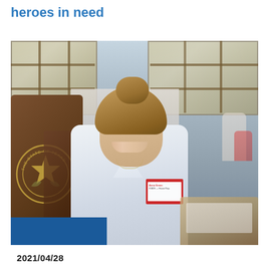heroes in need
[Figure (photo): Young woman smiling while seated at a legislative desk with a Texas State seal on the chair back. She is wearing a white button-up shirt with a name badge. The setting appears to be the Texas State Capitol building interior, with large windows and ornate wooden furniture visible in the background.]
2021/04/28